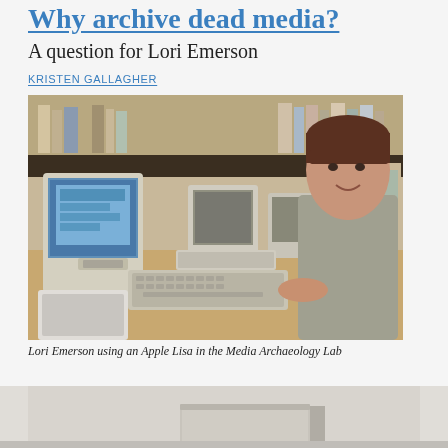Why archive dead media?
A question for Lori Emerson
KRISTEN GALLAGHER
[Figure (photo): Lori Emerson sitting at a desk using an Apple Lisa computer in the Media Archaeology Lab, surrounded by vintage computers and shelves of books/media]
Lori Emerson using an Apple Lisa in the Media Archaeology Lab
[Figure (photo): Bottom portion of another image showing what appears to be archival materials or boxes on a light surface]